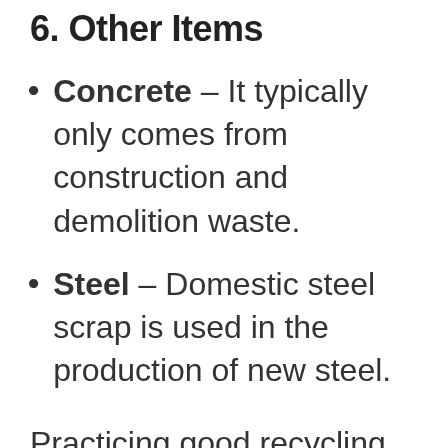6. Other Items
Concrete – It typically only comes from construction and demolition waste.
Steel – Domestic steel scrap is used in the production of new steel.
Practicing good recycling habits is not difficult, nor is there a secret to being a “good recycler.” There